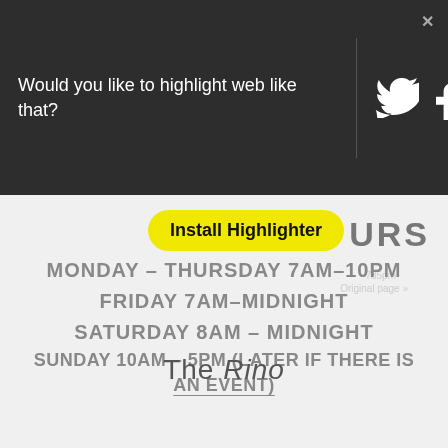Would you like to highlight web like that?
[Figure (screenshot): Social media icons: Twitter bird and Facebook f in white on dark background]
Install Highlighter
HOURS
MONDAY - THURSDAY 7AM-10PM
FRIDAY 7AM-MIDNIGHT
SATURDAY 8AM - MIDNIGHT
SUNDAY 10AM - 5PM (LATER IF THERE IS AN EVENT)
The Rino